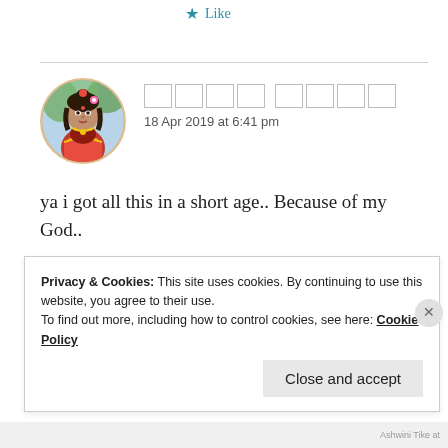Like
18 Apr 2019 at 6:41 pm
[Figure (photo): Circular avatar photo of a woman in traditional Indian bridal attire with red/orange clothing and jewelry]
ya i got all this in a short age.. Because of my God..
Like
Privacy & Cookies: This site uses cookies. By continuing to use this website, you agree to their use.
To find out more, including how to control cookies, see here: Cookie Policy
Close and accept